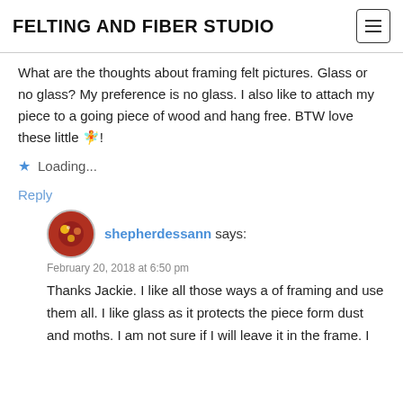FELTING AND FIBER STUDIO
What are the thoughts about framing felt pictures. Glass or no glass? My preference is no glass. I also like to attach my piece to a going piece of wood and hang free. BTW love these little 🧚!
Loading...
Reply
shepherdessann says:
February 20, 2018 at 6:50 pm
Thanks Jackie. I like all those ways a of framing and use them all. I like glass as it protects the piece form dust and moths. I am not sure if I will leave it in the frame. I